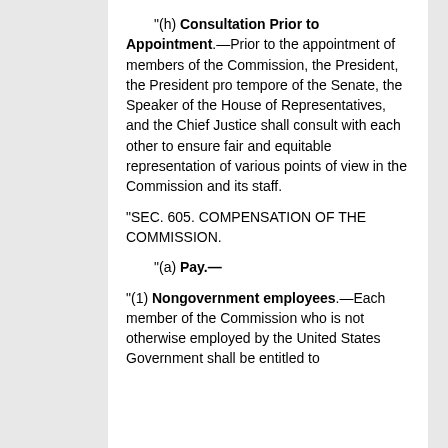"(h) Consultation Prior to Appointment.—Prior to the appointment of members of the Commission, the President, the President pro tempore of the Senate, the Speaker of the House of Representatives, and the Chief Justice shall consult with each other to ensure fair and equitable representation of various points of view in the Commission and its staff.
"SEC. 605. COMPENSATION OF THE COMMISSION.
"(a) Pay.—
"(1) Nongovernment employees.—Each member of the Commission who is not otherwise employed by the United States Government shall be entitled to